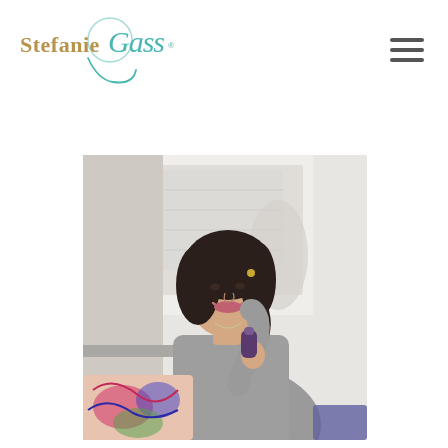[Figure (logo): Stefanie Gass logo with stylized cursive 'Gass' in teal and 'Stefanie' in gold/brown tones]
[Figure (other): Hamburger menu icon with three horizontal lines]
[Figure (photo): Photo of a woman with dark hair, smiling, holding a microphone or small device, wearing a grey long-sleeve top, seated in a bright room with colorful pillows]